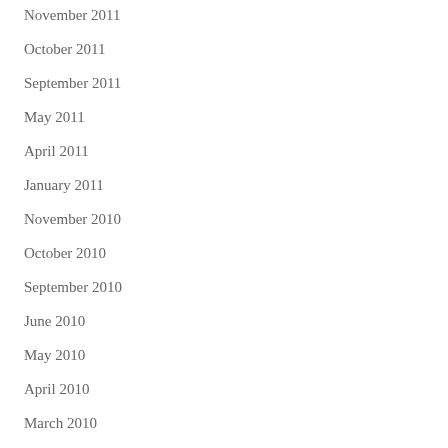November 2011
October 2011
September 2011
May 2011
April 2011
January 2011
November 2010
October 2010
September 2010
June 2010
May 2010
April 2010
March 2010
February 2010
January 2010